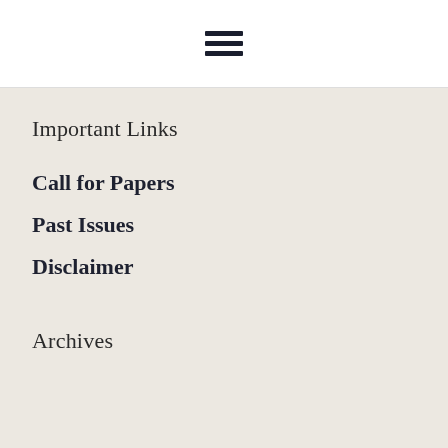[Figure (other): Hamburger menu icon with three horizontal lines]
Important Links
Call for Papers
Past Issues
Disclaimer
Archives